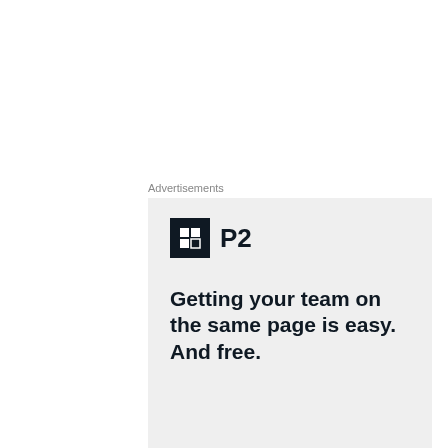Advertisements
[Figure (illustration): P2 advertisement banner with logo and tagline: Getting your team on the same page is easy. And free.]
S
P
[
the left since the Trump campaign have often
Privacy & Cookies: This site uses cookies. By continuing to use this website, you agree to their use. To find out more, including how to control cookies, see here: Cookie Policy
Close and accept